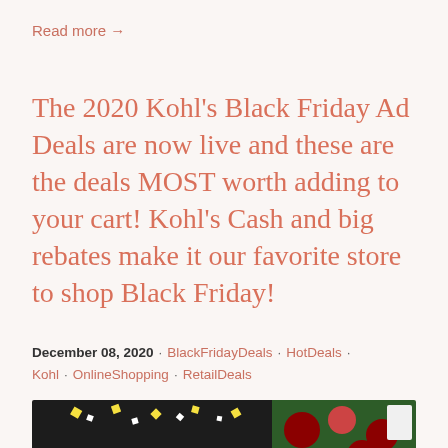Read more →
The 2020 Kohl's Black Friday Ad Deals are now live and these are the deals MOST worth adding to your cart!  Kohl's Cash and big rebates make it our favorite store to shop Black Friday!
December 08, 2020 · BlackFridayDeals · HotDeals · Kohl · OnlineShopping · RetailDeals
[Figure (photo): A Cyber Monday/Black Friday store sign with yellow text on dark background, alongside a Christmas tree decoration display]